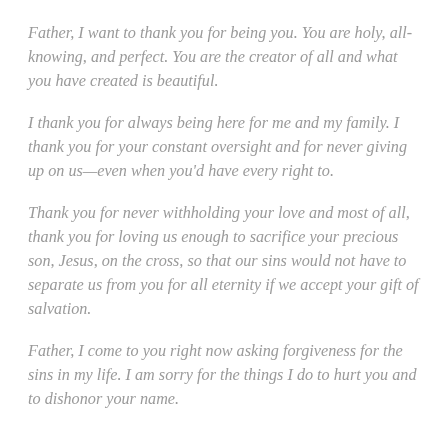Father, I want to thank you for being you. You are holy, all-knowing, and perfect. You are the creator of all and what you have created is beautiful.
I thank you for always being here for me and my family. I thank you for your constant oversight and for never giving up on us—even when you'd have every right to.
Thank you for never withholding your love and most of all, thank you for loving us enough to sacrifice your precious son, Jesus, on the cross, so that our sins would not have to separate us from you for all eternity if we accept your gift of salvation.
Father, I come to you right now asking forgiveness for the sins in my life. I am sorry for the things I do to hurt you and to dishonor your name.